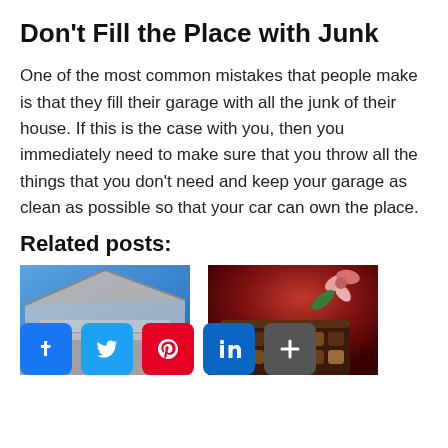Don't Fill the Place with Junk
One of the most common mistakes that people make is that they fill their garage with all the junk of their house. If this is the case with you, then you immediately need to make sure that you throw all the things that you don't need and keep your garage as clean as possible so that your car can own the place.
Related posts:
[Figure (photo): Photo of a garage exterior with blue sky and roof]
[Figure (photo): Photo of a box of chocolates with flowers on red background]